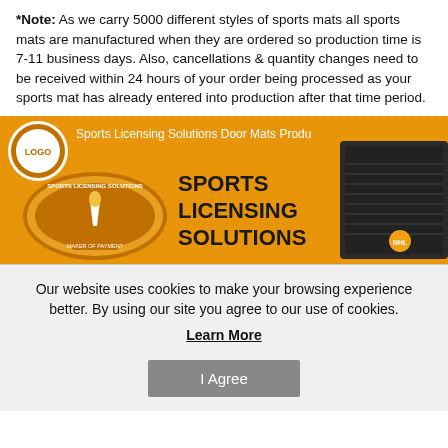*Note: As we carry 5000 different styles of sports mats all sports mats are manufactured when they are ordered so production time is 7-11 business days. Also, cancellations & quantity changes need to be received within 24 hours of your order being processed as your sports mat has already entered into production after that time period.
[Figure (illustration): Sports Licensing Solutions banner with orange background, circular logo on left, bold brand text 'SPORTS LICENSING SOLUTIONS' in center, and a dark sports mat on the right. Top text reads 'Sports Licensing Solutions Door Mats Produ...']
Our website uses cookies to make your browsing experience better. By using our site you agree to our use of cookies.
Learn More
I Agree